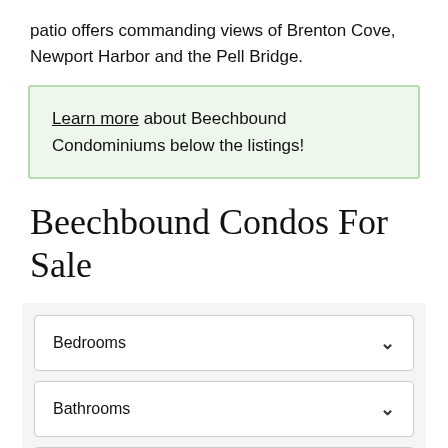patio offers commanding views of Brenton Cove, Newport Harbor and the Pell Bridge.
Learn more about Beechbound Condominiums below the listings!
Beechbound Condos For Sale
Bedrooms
Bathrooms
Price Range